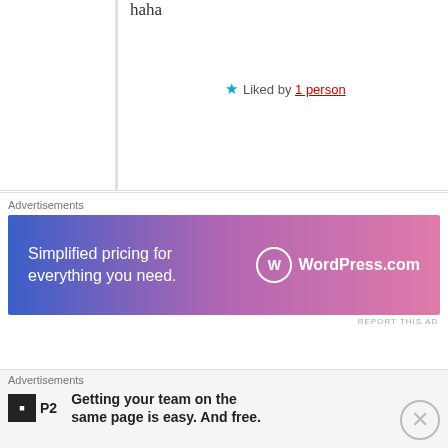haha
★ Liked by 1 person
Advertisements
[Figure (screenshot): WordPress.com advertisement banner with gradient blue-to-pink background. Text: 'Simplified pricing for everything you need.' with WordPress.com logo on the right.]
REPORT THIS AD
MIRA BELLE   April 25, 2018 at 5:59 am   REPLY →
[Figure (photo): Circular avatar photo of Mira Belle]
Reblogged this on Hello Mira Belle.
★ Liked by 1 person
Advertisements
[Figure (screenshot): P2 advertisement: Getting your team on the same page is easy. And free.]